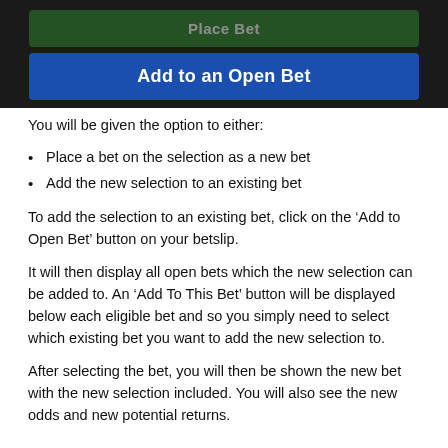[Figure (screenshot): Mobile app screenshot showing two buttons: a partially visible green button at top and a blue 'Add to an Open Bet' button below, on a dark background]
You will be given the option to either:
Place a bet on the selection as a new bet
Add the new selection to an existing bet
To add the selection to an existing bet, click on the ‘Add to Open Bet’ button on your betslip.
It will then display all open bets which the new selection can be added to. An ‘Add To This Bet’ button will be displayed below each eligible bet and so you simply need to select which existing bet you want to add the new selection to.
After selecting the bet, you will then be shown the new bet with the new selection included. You will also see the new odds and new potential returns.